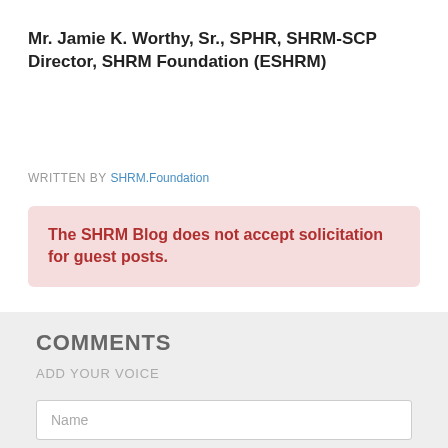Mr. Jamie K. Worthy, Sr., SPHR, SHRM-SCP Director, SHRM Foundation (ESHRM)
WRITTEN BY SHRM.Foundation
The SHRM Blog does not accept solicitation for guest posts.
COMMENTS
ADD YOUR VOICE